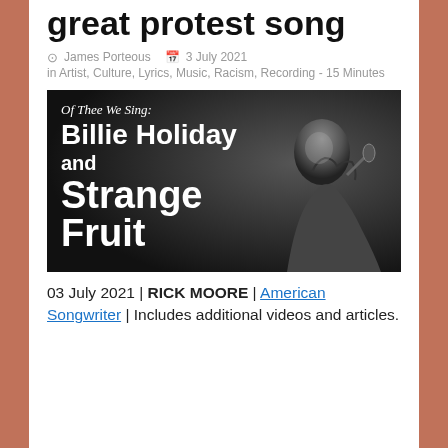great protest song
James Porteous  3 July 2021
in Artist, Culture, Lyrics, Music, Racism, Recording - 15 Minutes
[Figure (photo): Black and white promotional image for 'Of Thee We Sing: Billie Holiday and Strange Fruit' showing Billie Holiday singing at a microphone, with bold white text overlay on dark background]
03 July 2021 | RICK MOORE | American Songwriter | Includes additional videos and articles.